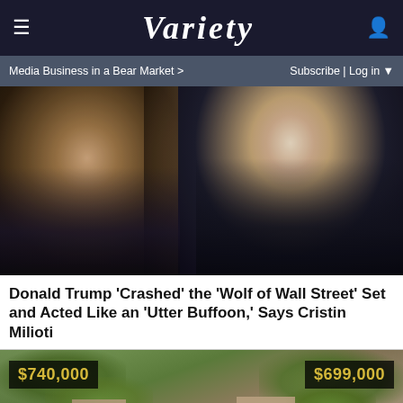VARIETY
Media Business in a Bear Market >   Subscribe | Log in
[Figure (photo): Film still from The Wolf of Wall Street showing two male actors in suits facing each other closely, one grabbing the other's neck/collar, both smiling.]
Donald Trump 'Crashed' the 'Wolf of Wall Street' Set and Acted Like an 'Utter Buffoon,' Says Cristin Milioti
[Figure (photo): Aerial photograph of a suburban neighborhood with price signs overlaid: $740,000 on the left and $699,000 on the right, showing houses and tree-lined streets.]